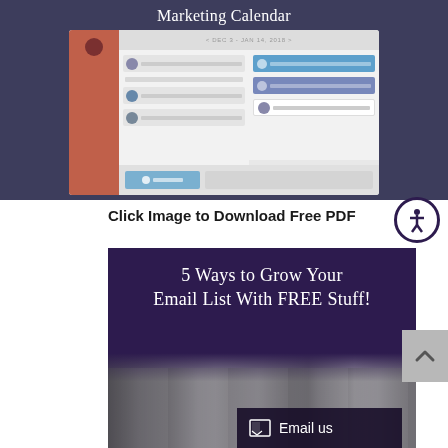[Figure (screenshot): Marketing Calendar app screenshot showing a scheduling interface with social media post items, sidebar in orange/red, and Twitter/Facebook/LinkedIn post rows]
Click Image to Download Free PDF
[Figure (illustration): Promotional image with dark purple background and text '5 Ways to Grow Your Email List With FREE Stuff!' with a black-and-white photo of someone typing on a laptop, and an Email us button at the bottom right]